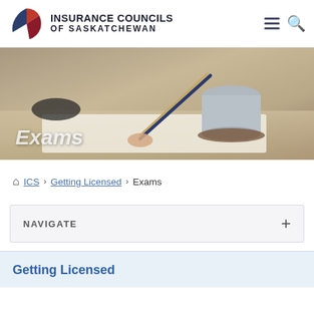Insurance Councils of Saskatchewan
[Figure (screenshot): Hero banner image showing a hand holding a pencil over paper on a desk with a coffee mug in the background. Text overlay reads 'Exams' in white italic font.]
🏠 ICS > Getting Licensed > Exams
NAVIGATE +
Getting Licensed